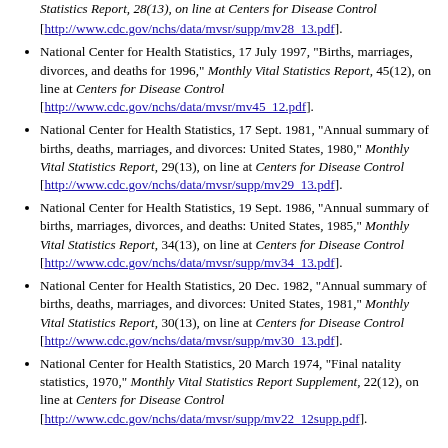Statistics Report, 28(13), on line at Centers for Disease Control [http://www.cdc.gov/nchs/data/mvsr/supp/mv28_13.pdf].
National Center for Health Statistics, 17 July 1997, "Births, marriages, divorces, and deaths for 1996," Monthly Vital Statistics Report, 45(12), on line at Centers for Disease Control [http://www.cdc.gov/nchs/data/mvsr/mv45_12.pdf].
National Center for Health Statistics, 17 Sept. 1981, "Annual summary of births, deaths, marriages, and divorces: United States, 1980," Monthly Vital Statistics Report, 29(13), on line at Centers for Disease Control [http://www.cdc.gov/nchs/data/mvsr/supp/mv29_13.pdf].
National Center for Health Statistics, 19 Sept. 1986, "Annual summary of births, marriages, divorces, and deaths: United States, 1985," Monthly Vital Statistics Report, 34(13), on line at Centers for Disease Control [http://www.cdc.gov/nchs/data/mvsr/supp/mv34_13.pdf].
National Center for Health Statistics, 20 Dec. 1982, "Annual summary of births, deaths, marriages, and divorces: United States, 1981," Monthly Vital Statistics Report, 30(13), on line at Centers for Disease Control [http://www.cdc.gov/nchs/data/mvsr/supp/mv30_13.pdf].
National Center for Health Statistics, 20 March 1974, "Final natality statistics, 1970," Monthly Vital Statistics Report Supplement, 22(12), on line at Centers for Disease Control [http://www.cdc.gov/nchs/data/mvsr/supp/mv22_12supp.pdf].